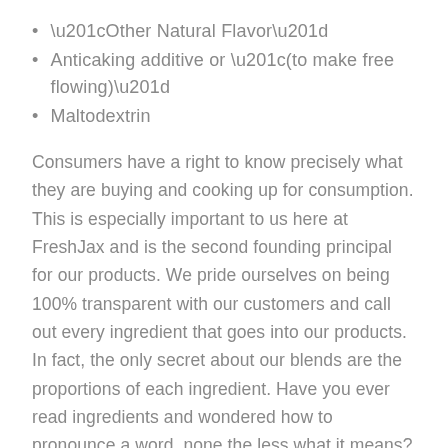“Other Natural Flavor”
Anticaking additive or “(to make free flowing)”
Maltodextrin
Consumers have a right to know precisely what they are buying and cooking up for consumption. This is especially important to us here at FreshJax and is the second founding principal for our products. We pride ourselves on being 100% transparent with our customers and call out every ingredient that goes into our products. In fact, the only secret about our blends are the proportions of each ingredient. Have you ever read ingredients and wondered how to pronounce a word, none the less what it means? When words on labels require Wikipedia, you will want to reconsider. You also want to re-tink vague terms like, “other natural flavors,” or ingredients “to make free flowing,” also